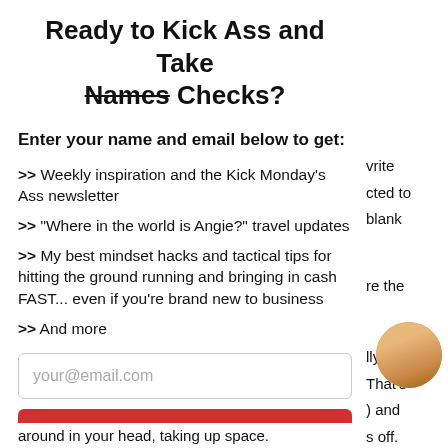Ready to Kick Ass and Take Names Checks?
Enter your name and email below to get:
>> Weekly inspiration and the Kick Monday's Ass newsletter
>> "Where in the world is Angie?" travel updates
>> My best mindset hacks and tactical tips for hitting the ground running and bringing in cash FAST... even if you're brand new to business
>> And more
your@email.com
SIGN ME UP!
around in your head, taking up space.